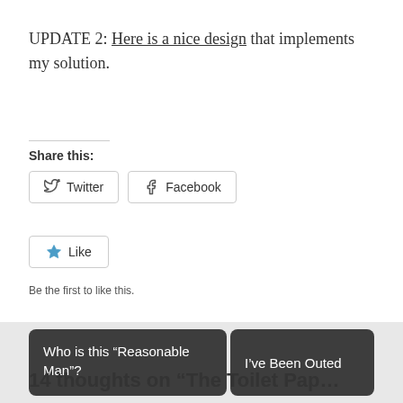UPDATE 2: Here is a nice design that implements my solution.
Share this:
[Figure (other): Share buttons: Twitter and Facebook]
[Figure (other): Like button with star icon]
Be the first to like this.
Who is this “Reasonable Man”?
I’ve Been Outed
14 thoughts on “The Toilet Pap…